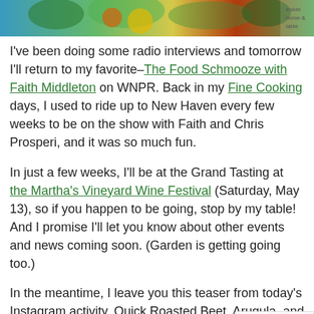[Figure (photo): Partial image of food/salad with green leaves and colorful ingredients visible at the top of the page]
I've been doing some radio interviews and tomorrow I'll return to my favorite–The Food Schmooze with Faith Middleton on WNPR.  Back in my Fine Cooking days, I used to ride up to New Haven every few weeks to be on the show with Faith and Chris Prosperi, and it was so much fun.
In just a few weeks, I'll be at the Grand Tasting at the Martha's Vineyard Wine Festival (Saturday, May 13), so if you happen to be going, stop by my table! And I promise I'll let you know about other events and news coming soon. (Garden is getting going too.)
In the meantime, I leave you this teaser from today's Instagram activity. Quick Roasted Beet, Arugula, and Wheatberry Salad with Strawberry-Balsamic Dressing. (That would be on page 40 in the book!)
[Figure (logo): Google reCAPTCHA badge with Privacy and Terms text]